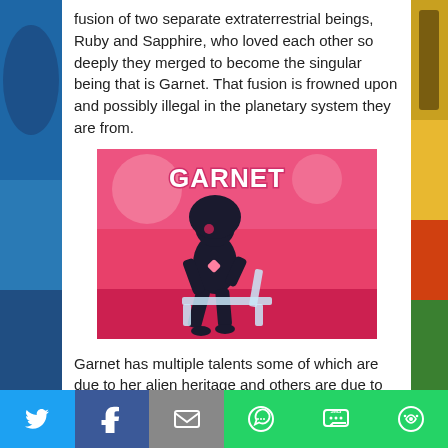fusion of two separate extraterrestrial beings, Ruby and Sapphire, who loved each other so deeply they merged to become the singular being that is Garnet. That fusion is frowned upon and possibly illegal in the planetary system they are from.
[Figure (illustration): Animated screenshot showing the character Garnet from Steven Universe, sitting in a lounge chair on a pink background. The word GARNET is displayed in white bold text in the upper right.]
Garnet has multiple talents some of which are due to her alien heritage and others are due to that of the beings who she is formed from and the unique fusion of those two characters. Some of her abilities include shape-shifting, fusion, regeneration, agelessness, superhuman strength and durability. Garnet, being a fused being, can
Social sharing toolbar with Twitter, Facebook, Email, WhatsApp, SMS, and More buttons